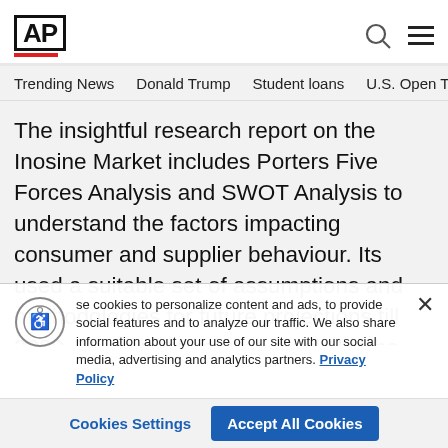AP
Trending News  Donald Trump  Student loans  U.S. Open Tenn
The insightful research report on the Inosine Market includes Porters Five Forces Analysis and SWOT Analysis to understand the factors impacting consumer and supplier behaviour. Its used a suitable set of assumptions and methodologies for future projections till 2030. The overall market is split by the company, by country, and by application/type for the competitive landscape analysis. Furthermore, the report provides
se cookies to personalize content and ads, to provide social features and to analyze our traffic. We also share information about your use of our site with our social media, advertising and analytics partners. Privacy Policy
Cookies Settings  Accept All Cookies